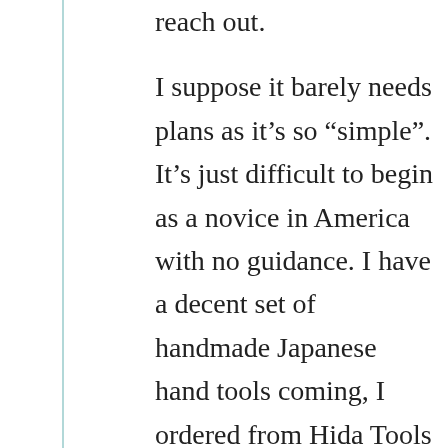reach out.
I suppose it barely needs plans as it’s so “simple”. It’s just difficult to begin as a novice in America with no guidance. I have a decent set of handmade Japanese hand tools coming, I ordered from Hida Tools in the US, and JapaneseTools.Au in Australia. I see you have an online storefront, I will definitely be browsing for future